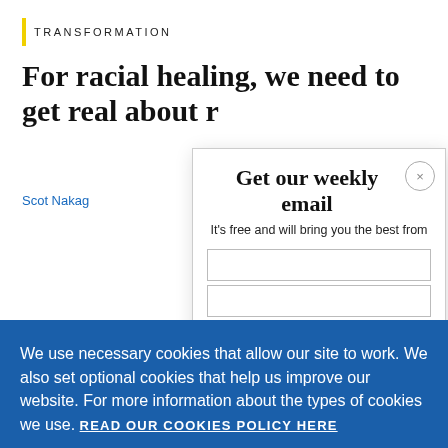TRANSFORMATION
For racial healing, we need to get real about r
Scot Nakag
Get our weekly email
It's free and will bring you the best from
We use necessary cookies that allow our site to work. We also set optional cookies that help us improve our website. For more information about the types of cookies we use. READ OUR COOKIES POLICY HERE
COOKIE SETTINGS
ALLOW ALL COOKIES
data.